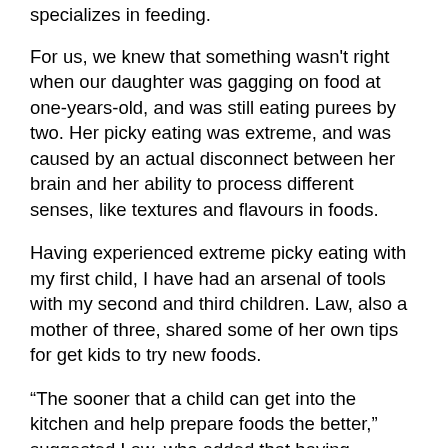specializes in feeding.
For us, we knew that something wasn't right when our daughter was gagging on food at one-years-old, and was still eating purees by two. Her picky eating was extreme, and was caused by an actual disconnect between her brain and her ability to process different senses, like textures and flavours in foods.
Having experienced extreme picky eating with my first child, I have had an arsenal of tools with my second and third children. Law, also a mother of three, shared some of her own tips for get kids to try new foods.
“The sooner that a child can get into the kitchen and help prepare foods the better,” suggested Law, who added that having children chop veggies or mix foods in a bowl are great ways to introduce children to food before it’s on a plate.
Law also said that she doesn’t pressure her kids to finish an entire serving of a new food, but she does expect that they bite, chew, and swallow it.
For a neurodiverse child like my oldest, expecting her to eat something new is not recommended. We start with the